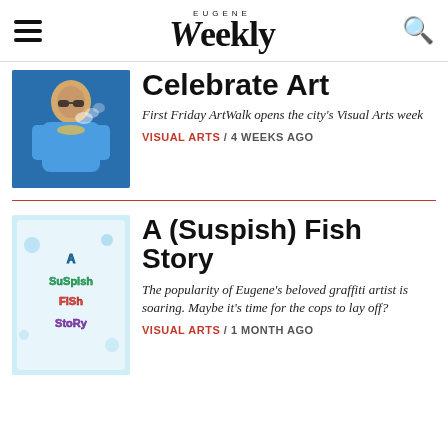Eugene Weekly
Celebrate Art
First Friday ArtWalk opens the city's Visual Arts week
VISUAL ARTS / 4 WEEKS AGO
[Figure (photo): Person in blue denim jacket exhaling smoke, wearing sunglasses]
A (Suspish) Fish Story
The popularity of Eugene's beloved graffiti artist is soaring. Maybe it's time for the cops to lay off?
VISUAL ARTS / 1 MONTH AGO
[Figure (photo): Colorful graffiti-style logo reading 'A Suspish Fish Story']